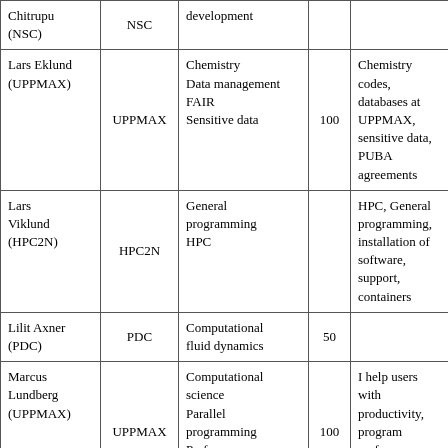| Name | Centre | Expertise | % | Description |
| --- | --- | --- | --- | --- |
| Chitrupu (NSC) | NSC | development |  |  |
| Lars Eklund (UPPMAX) | UPPMAX | Chemistry
Data management
FAIR
Sensitive data | 100 | Chemistry codes, databases at UPPMAX, sensitive data, PUBA agreements |
| Lars Viklund (HPC2N) | HPC2N | General programming
HPC |  | HPC, General programming, installation of software, support, containers |
| Lilit Axner (PDC) | PDC | Computational fluid dynamics | 50 |  |
| Marcus Lundberg (UPPMAX) | UPPMAX | Computational science
Parallel programming
Performance tuning | 100 | I help users with productivity, program performance, and parallelisation. |
| Martin Dahlö (UPPMAX) | UPPMAX | Bioinformatics | 10 | Bioinformatic support |
| Mikael |  |  |  |  |